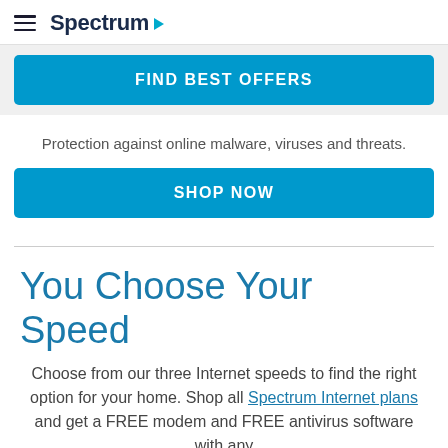Spectrum
FIND BEST OFFERS
Protection against online malware, viruses and threats.
SHOP NOW
You Choose Your Speed
Choose from our three Internet speeds to find the right option for your home. Shop all Spectrum Internet plans and get a FREE modem and FREE antivirus software with any